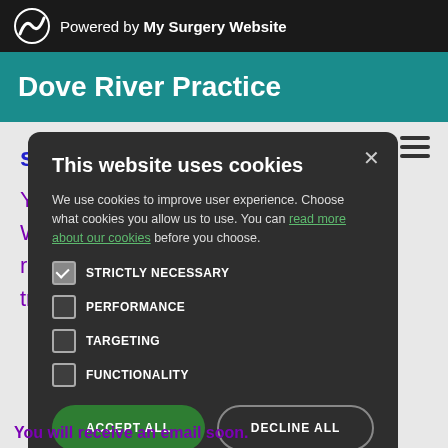Powered by My Surgery Website
Dove River Practice
[Figure (screenshot): Cookie consent modal dialog on a medical practice website. Contains title 'This website uses cookies', body text, checkboxes for STRICTLY NECESSARY, PERFORMANCE, TARGETING, FUNCTIONALITY, and two buttons: ACCEPT ALL and DECLINE ALL.]
You will receive an email soon.